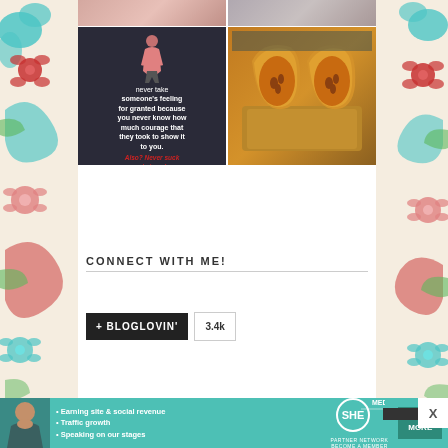[Figure (photo): Blog sidebar screenshot showing a photo grid with a motivational quote image (text: never take someone's feeling for granted because you never know how much courage that they took to show it to you. Also? Never suck someone's toes because you never know what they...in italics red) and a butternut squash photo, plus a CONNECT WITH ME section and a Bloglovin badge showing 3.4k, with decorative floral borders on left and right]
CONNECT WITH ME!
+ BLOGLOVIN'  3.4k
[Figure (infographic): SHE Partner Network advertisement banner: Earning site & social revenue, Traffic growth, Speaking on our stages. LEARN MORE button.]